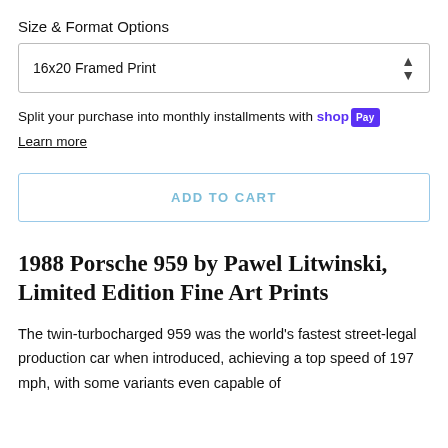Size & Format Options
16x20 Framed Print
Split your purchase into monthly installments with shop Pay
Learn more
ADD TO CART
1988 Porsche 959 by Pawel Litwinski, Limited Edition Fine Art Prints
The twin-turbocharged 959 was the world's fastest street-legal production car when introduced, achieving a top speed of 197 mph, with some variants even capable of